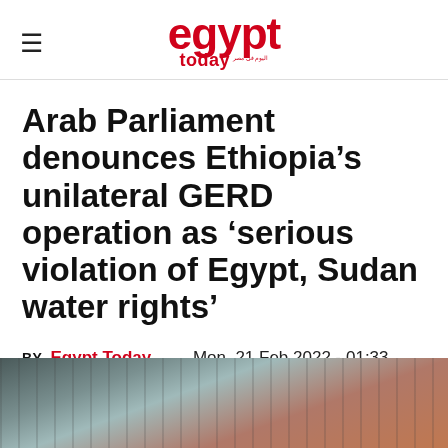egypt today
Arab Parliament denounces Ethiopia’s unilateral GERD operation as ‘serious violation of Egypt, Sudan water rights’
BY Egypt Today staff - Mon, 21 Feb 2022 - 01:33 GMT
[Figure (photo): Aerial or close-up photograph related to the GERD dam or water/river scene, partially visible at bottom of page]